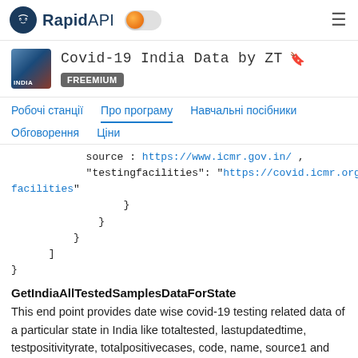RapidAPI
Covid-19 India Data by ZT FREEMIUM
Робочі станції  Про програму  Навчальні посібники  Обговорення  Ціни
source : https://www.icmr.gov.in/ ,
"testingfacilities": "https://covid.icmr.org.in/index facilities"
}
}
}
]
}
GetIndiaAllTestedSamplesDataForState
This end point provides date wise covid-19 testing related data of a particular state in India like totaltested, lastupdatedtime, testpositivityrate, totalpositivecases, code, name, source1 and source2. The lastupdatedtime is when this data was last updated in the source where we have fetched the data. A required input parameter